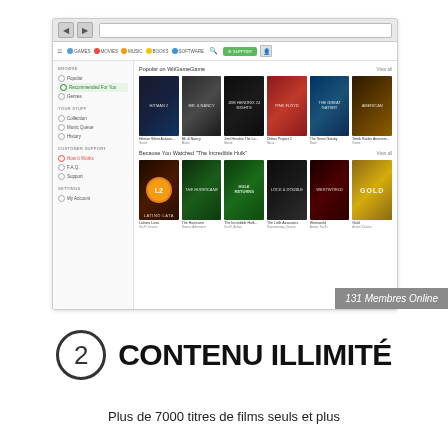[Figure (screenshot): Screenshot of a streaming media web application showing a navigation sidebar with Browse, Your Stuff, Customer Support, and Settings sections. Main content area shows 'Popular on WitGameGame' and 'Because You Watched The Incredible Hulk' sections with movie poster grids.]
2  CONTENU ILLIMITÉ
Plus de 7000 titres de films seuls et plus
131 Membres Online